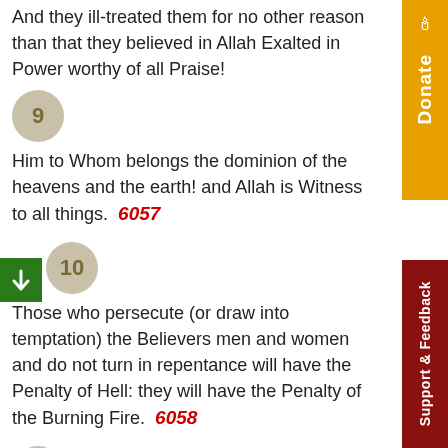And they ill-treated them for no other reason than that they believed in Allah Exalted in Power worthy of all Praise!
9
Him to Whom belongs the dominion of the heavens and the earth! and Allah is Witness to all things.  6057
10
Those who persecute (or draw into temptation) the Believers men and women and do not turn in repentance will have the Penalty of Hell: they will have the Penalty of the Burning Fire.  6058
11
For those who believe and do righteous deeds will be Gardens Beneath which Rivers flow: that is the great Salvation (tho fulfillment of all desires).  6059  6060